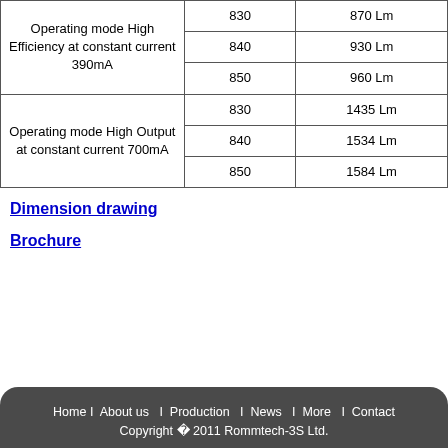| Operating mode High Efficiency at constant current 390mA | 830 | 870 Lm |
|  | 840 | 930 Lm |
|  | 850 | 960 Lm |
| Operating mode High Output at constant current 700mA | 830 | 1435 Lm |
|  | 840 | 1534 Lm |
|  | 850 | 1584 Lm |
Dimension drawing
Brochure
Home I About us I Production I News I More I Contact
Copyright © 2011 Rommtech-3S Ltd.